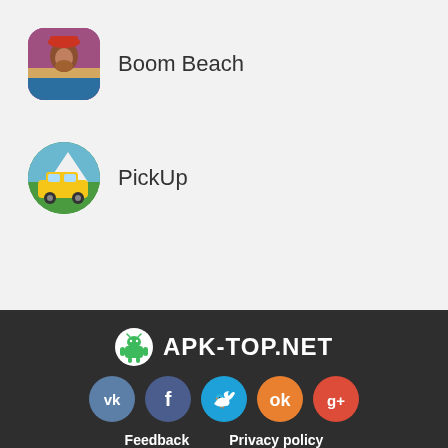Boom Beach
PickUp
[Figure (logo): APK-TOP.NET logo with Android robot icon]
[Figure (infographic): Social media buttons: VK, Facebook, Twitter, Odnoklassniki, Google+]
Feedback   Privacy policy
© 2021 Apk-top.net | All rights reserved, copying of materials is allowed only with the indication of an active link to Apk-top.net